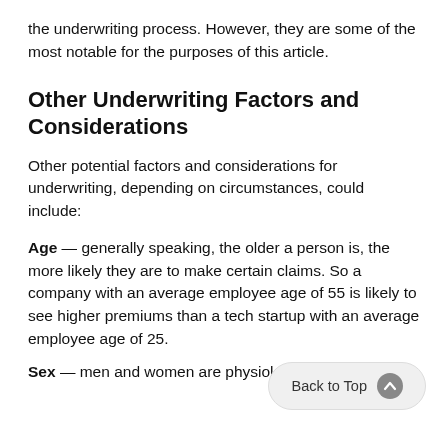the underwriting process. However, they are some of the most notable for the purposes of this article.
Other Underwriting Factors and Considerations
Other potential factors and considerations for underwriting, depending on circumstances, could include:
Age — generally speaking, the older a person is, the more likely they are to make certain claims. So a company with an average employee age of 55 is likely to see higher premiums than a tech startup with an average employee age of 25.
Sex — men and women are physiologically